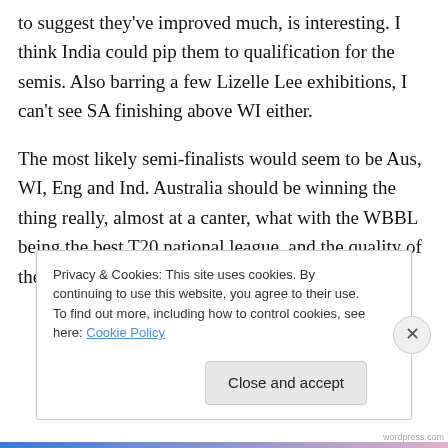to suggest they've improved much, is interesting. I think India could pip them to qualification for the semis. Also barring a few Lizelle Lee exhibitions, I can't see SA finishing above WI either.

The most likely semi-finalists would seem to be Aus, WI, Eng and Ind. Australia should be winning the thing really, almost at a canter, what with the WBBL being the best T20 national league, and the quality of their players. They could walk away with it.
Privacy & Cookies: This site uses cookies. By continuing to use this website, you agree to their use.
To find out more, including how to control cookies, see here: Cookie Policy